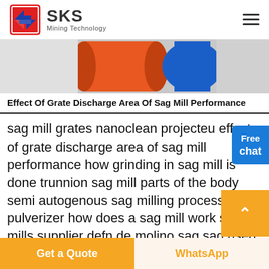[Figure (logo): SKS Mining Technology logo with red and blue geometric icon and company name]
[Figure (photo): Partial photo showing colorful cylindrical mill parts or grates in orange, blue and gray tones]
Effect Of Grate Discharge Area Of Sag Mill Performance
sag mill grates nanoclean projecteu effect of grate discharge area of sag mill performance how grinding in sag mill is done trunnion sag mill parts of the body semi autogenous sag milling process pulverizer how does a sag mill work sag mills supplier defn de molino sag sag used trituradora Others chile molybdenum mining plant